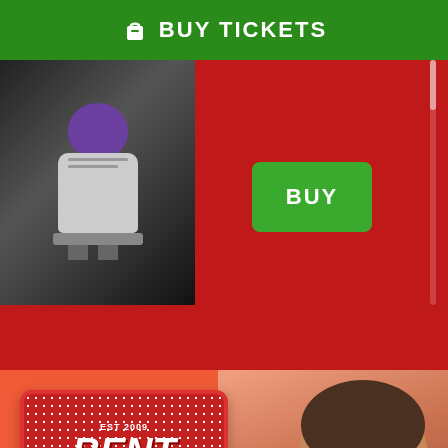[Figure (screenshot): Green banner with shopping bag icon and 'BUY TICKETS' text in white]
[Figure (screenshot): Red section showing a black-and-white photo of a puppet performer at a table on the left, and a green BUY button in the center]
[Figure (infographic): Bent Double comedy night promotional image on coral/orange background. Logo card with 'EST 2009 BENT DOUBLE' text, performer photo on right. Text reads 'SUNDAY 4TH SEPT' and 'A GAY-FRIENDLY NIGHT OF TOP COMEDY']
[Figure (screenshot): Bottom dark section showing comedy club promotional imagery with two performers on sides and 'comedy club' neon-style logo in center]